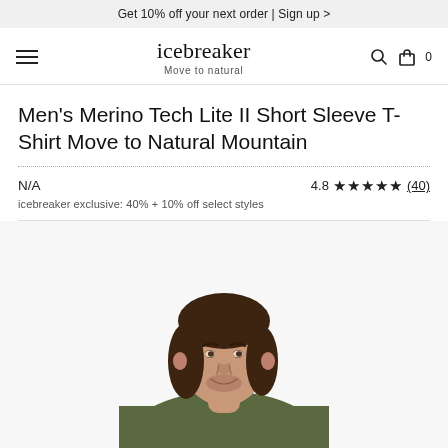Get 10% off your next order | Sign up >
icebreaker Move to natural
Men's Merino Tech Lite II Short Sleeve T-Shirt Move to Natural Mountain
N/A
4.8 ★★★★★ (40)
icebreaker exclusive: 40% + 10% off select styles
[Figure (photo): Man with medium-length brown hair wearing an olive/dark green crew-neck t-shirt, photographed from the chest up against a white background.]